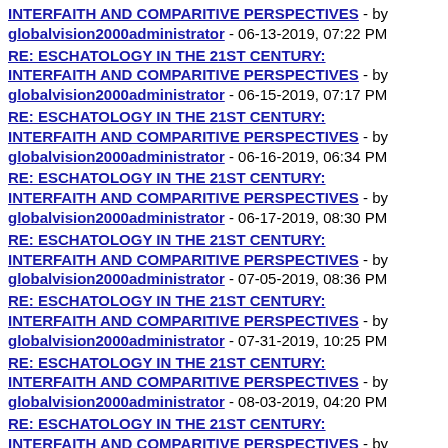INTERFAITH AND COMPARITIVE PERSPECTIVES - by globalvision2000administrator - 06-13-2019, 07:22 PM
RE: ESCHATOLOGY IN THE 21ST CENTURY: INTERFAITH AND COMPARITIVE PERSPECTIVES - by globalvision2000administrator - 06-15-2019, 07:17 PM
RE: ESCHATOLOGY IN THE 21ST CENTURY: INTERFAITH AND COMPARITIVE PERSPECTIVES - by globalvision2000administrator - 06-16-2019, 06:34 PM
RE: ESCHATOLOGY IN THE 21ST CENTURY: INTERFAITH AND COMPARITIVE PERSPECTIVES - by globalvision2000administrator - 06-17-2019, 08:30 PM
RE: ESCHATOLOGY IN THE 21ST CENTURY: INTERFAITH AND COMPARITIVE PERSPECTIVES - by globalvision2000administrator - 07-05-2019, 08:36 PM
RE: ESCHATOLOGY IN THE 21ST CENTURY: INTERFAITH AND COMPARITIVE PERSPECTIVES - by globalvision2000administrator - 07-31-2019, 10:25 PM
RE: ESCHATOLOGY IN THE 21ST CENTURY: INTERFAITH AND COMPARITIVE PERSPECTIVES - by globalvision2000administrator - 08-03-2019, 04:20 PM
RE: ESCHATOLOGY IN THE 21ST CENTURY: INTERFAITH AND COMPARITIVE PERSPECTIVES - by globalvision2000administrator - 08-07-2019, 09:27 PM
RE: ESCHATOLOGY IN THE 21ST CENTURY: INTERFAITH AND COMPARITIVE PERSPECTIVES - by